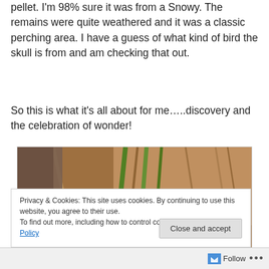pellet. I'm 98% sure it was from a Snowy. The remains were quite weathered and it was a classic perching area. I have a guess of what kind of bird the skull is from and am checking that out.
So this is what it's all about for me…..discovery and the celebration of wonder!
[Figure (photo): Close-up photograph of a small weathered white bird skull on the ground among green grass blades and dried tan reeds/straw.]
Privacy & Cookies: This site uses cookies. By continuing to use this website, you agree to their use.
To find out more, including how to control cookies, see here: Cookie Policy
Close and accept
Follow